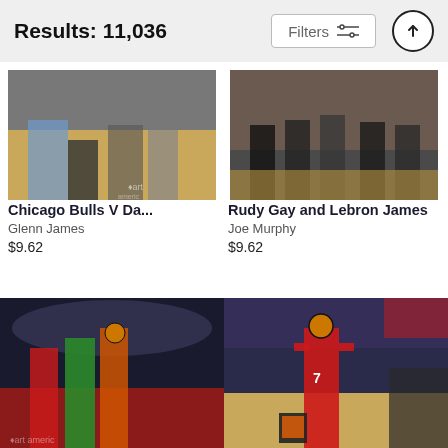Results: 11,036
[Figure (photo): Chicago Bulls vs Dallas basketball game, players on court, crowd in background]
Chicago Bulls V Da...
Glenn James
$9.62
[Figure (photo): Rudy Gay and Lebron James on basketball court with crowd]
Rudy Gay and Lebron James
Joe Murphy
$9.62
[Figure (photo): Basketball player jumping with ball in arena]
[Figure (photo): Basketball player in red Raptors jersey shooting ball in arena]